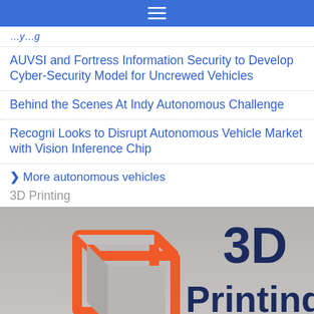≡
…y…g
AUVSI and Fortress Information Security to Develop Cyber-Security Model for Uncrewed Vehicles
Behind the Scenes At Indy Autonomous Challenge
Recogni Looks to Disrupt Autonomous Vehicle Market with Vision Inference Chip
> More autonomous vehicles
3D Printing
[Figure (photo): Photo of an orange 3D-printed cube frame on a gray surface, with the text '3D Printing' overlaid in dark navy on the right side.]
Innovate Products & Equipment to Merge with...